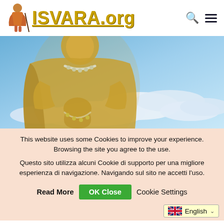ISVARA.org
[Figure (illustration): Golden deity/Buddha figure holding prayer beads, seated above clouds with blue sky background]
This website uses some Cookies to improve your experience. Browsing the site you agree to the use.
Questo sito utilizza alcuni Cookie di supporto per una migliore esperienza di navigazione. Navigando sul sito ne accetti l'uso.
Read More   OK Close   Cookie Settings
English